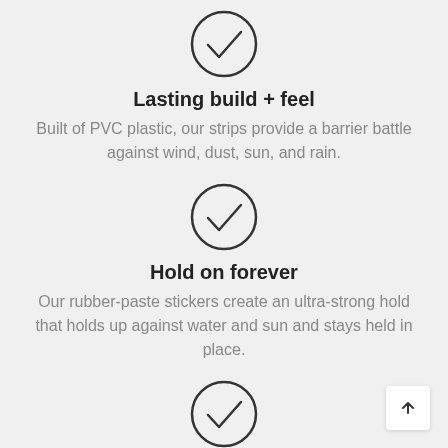[Figure (illustration): Checkmark icon inside a circle, top section]
Lasting build + feel
Built of PVC plastic, our strips provide a barrier battle against wind, dust, sun, and rain.
[Figure (illustration): Checkmark icon inside a circle, middle section]
Hold on forever
Our rubber-paste stickers create an ultra-strong hold that holds up against water and sun and stays held in place.
[Figure (illustration): Checkmark icon inside a circle, bottom section]